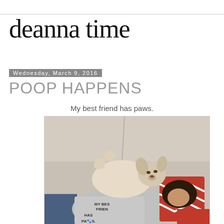deanna time
Wednesday, March 9, 2016
POOP HAPPENS
My best friend has paws.
[Figure (photo): Overhead view of a person lying on a beige couch cuddling with a small dog. The person is wearing a grey t-shirt reading 'MY BEST FRIEND HAS PAWS.' and holding a red and white chevron pillow. The dog is lying on its back on the person's chest.]